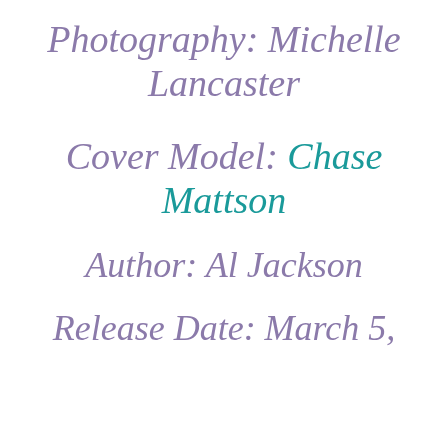Photography: Michelle Lancaster
Cover Model: Chase Mattson
Author: Al Jackson
Release Date: March 5,